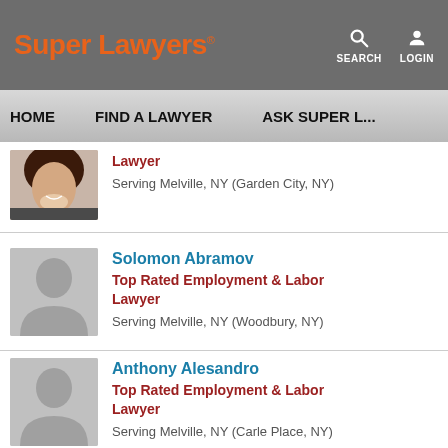Super Lawyers
SEARCH  LOGIN
HOME  FIND A LAWYER  ASK SUPER L...
Lawyer
Serving Melville, NY (Garden City, NY)
Solomon Abramov
Top Rated Employment & Labor Lawyer
Serving Melville, NY (Woodbury, NY)
Anthony Alesandro
Top Rated Employment & Labor Lawyer
Serving Melville, NY (Carle Place, NY)